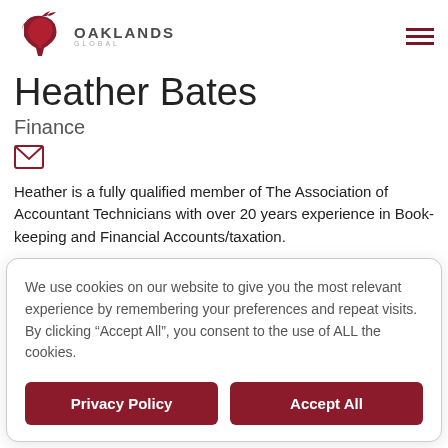Oaklands Global
Heather Bates
Finance
Heather is a fully qualified member of The Association of Accountant Technicians with over 20 years experience in Book- keeping and Financial Accounts/taxation.
We use cookies on our website to give you the most relevant experience by remembering your preferences and repeat visits. By clicking “Accept All”, you consent to the use of ALL the cookies.